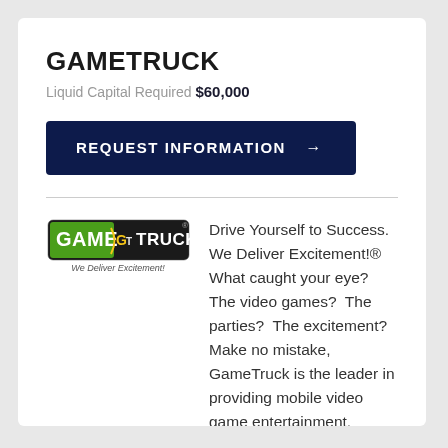GAMETRUCK
Liquid Capital Required $60,000
REQUEST INFORMATION →
[Figure (logo): GameTruck logo with 'We Deliver Excitement!' tagline]
Drive Yourself to Success. We Deliver Excitement!®  What caught your eye?  The video games?  The parties?  The excitement?  Make no mistake, GameTruck is the leader in providing mobile video game entertainment.  However, can you see past the thrills?  Can you see the impact you will have as ...